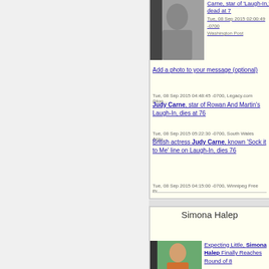[Figure (photo): Grayscale portrait photo thumbnail of Judy Carne]
Carne, star of 'Laugh-In,' dead at 7
Tue, 08 Sep 2015 02:00:49 -0700, Washington Post
Add a photo to your message (optional)
Tue, 08 Sep 2015 04:48:45 -0700, Legacy.com (blog...)
Judy Carne, star of Rowan And Martin's Laugh-In, dies at 76
Tue, 08 Sep 2015 05:22:30 -0700, South Wales Argu...
British actress Judy Carne, known 'Sock it to Me' line on Laugh-In, dies 76
Tue, 08 Sep 2015 04:15:00 -0700, Winnipeg Free Pr...
Simona Halep
[Figure (photo): Color photo of Simona Halep playing tennis]
Expecting Little, Simona Halep Finally Reaches Round of 8
Mon, 07 Sep 2015 14:32:05 -0700, New York Times
Sabine Lisicki - Simona Halep US...